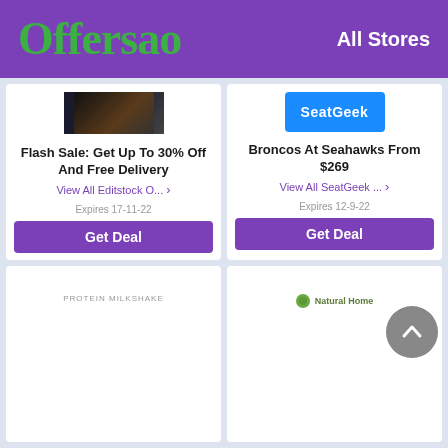Offersao  All Stores
Flash Sale: Get Up To 30% Off And Free Delivery
View All Editstock O... >
Expires 17-11-22
Get Deal
Broncos At Seahawks From $269
View All SeatGeek ... >
Expires 12-9-22
Get Deal